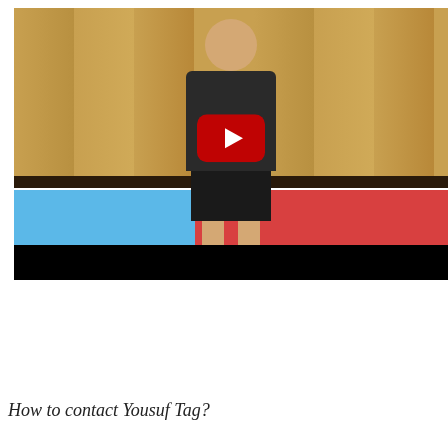[Figure (screenshot): YouTube video thumbnail showing a man in a black polo shirt and shorts standing in front of a wooden wall background with a blue and red table tennis table. A red YouTube play button is overlaid in the center.]
[Figure (screenshot): Comment box with a user avatar placeholder (grey silhouette icon), the question text 'How do I contact the seller?' and subtitle 'Melltoo is a social network for buying and selling', with a green underline at the bottom.]
How to contact Yousuf Tag?